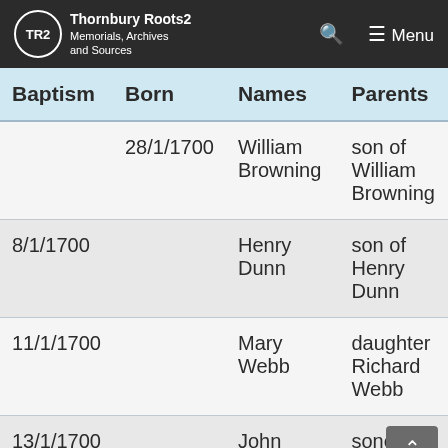TR2 Thornbury Roots2 Memorials, Archives and Sources
| Baptism | Born | Names | Parents |
| --- | --- | --- | --- |
|  | 28/1/1700 | William Browning | son of William Browning |
| 8/1/1700 |  | Henry Dunn | son of Henry Dunn |
| 11/1/1700 |  | Mary Webb | daughter Richard Webb |
| 13/1/1700 |  | John Curtis | sone of John Curt |